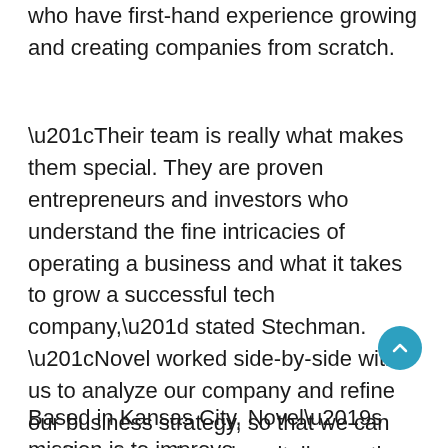who have first-hand experience growing and creating companies from scratch.
“Their team is really what makes them special. They are proven entrepreneurs and investors who understand the fine intricacies of operating a business and what it takes to grow a successful tech company,” stated Stechman. “Novel worked side-by-side with us to analyze our company and refine our business strategy, so that we can continue to scale and capitalize on the foundation we’ve already built. After working with Novel, I’m more excited than ever about the future of DivvyHQ.”
Based in Kansas City, Novel’s mission is to improve